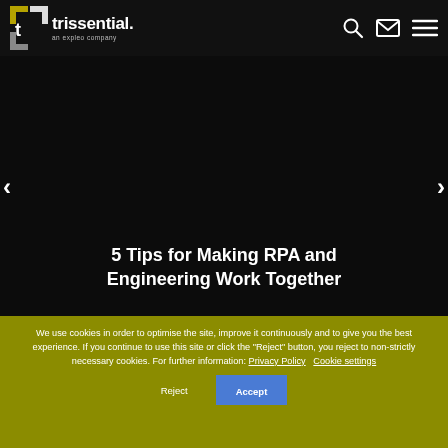[Figure (logo): Trissential logo — white text logo reading 'trissential.' with subtitle 'an expleo company' on dark background, with geometric arrow shapes]
[Figure (illustration): Navigation icons: search magnifier, envelope/mail icon, hamburger menu icon — all white on dark background]
[Figure (photo): Dark/black hero image background with left and right navigation arrows]
5 Tips for Making RPA and Engineering Work Together
We use cookies in order to optimise the site, improve it continuously and to give you the best experience. If you continue to use this site or click the "Reject" button, you reject to non-strictly necessary cookies. For further information: Privacy Policy Cookie settings Reject Accept